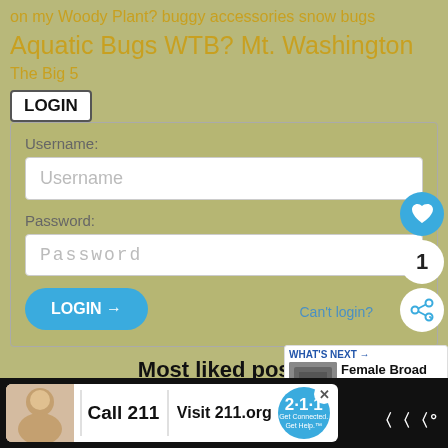on my Woody Plant? buggy accessories snow bugs Aquatic Bugs WTB? Mt. Washington The Big 5
LOGIN
Username:
Username
Password:
Password
LOGIN →
Can't login?
1
Most liked posts
What's That Bug? will not do your child's homework
Unknown Parasite (205)
[Figure (screenshot): WHAT'S NEXT arrow Female Broad Necked Roo... widget with thumbnail]
[Figure (screenshot): Call 211 | Visit 211.org advertisement banner with child photo and 211 badge]